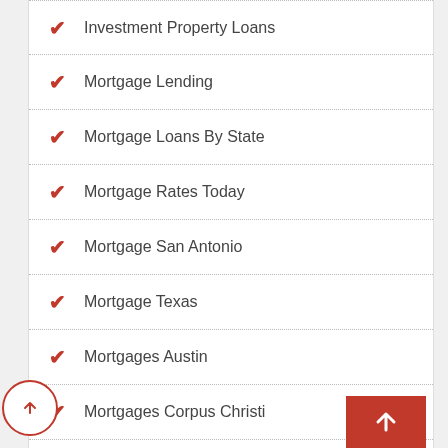Investment Property Loans
Mortgage Lending
Mortgage Loans By State
Mortgage Rates Today
Mortgage San Antonio
Mortgage Texas
Mortgages Austin
Mortgages Corpus Christi
Mortgages Dallas
Mortgages El Paso